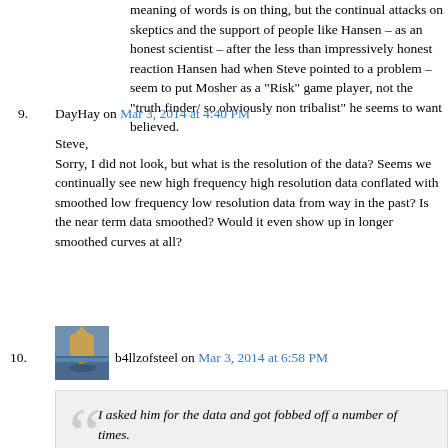meaning of words is on thing, but the continual attacks on skeptics and the support of people like Hansen – as an honest scientist – after the less than impressively honest reaction Hansen had when Steve pointed to a problem – seem to put Mosher as a "Risk" game player, not the "truth finder/ so obviously non tribalist" he seems to want believed.
9.   DayHay on Mar 3, 2014 at 4:40 PM
Steve,
Sorry, I did not look, but what is the resolution of the data? Seems we continually see new high frequency high resolution data conflated with smoothed low frequency low resolution data from way in the past? Is the near term data smoothed? Would it even show up in longer smoothed curves at all?
10.   b4llzofsteel on Mar 3, 2014 at 6:58 PM
I asked him for the data and got fobbed off a number of times.
Rosenthal discourteously failed to notify me that he had done so.